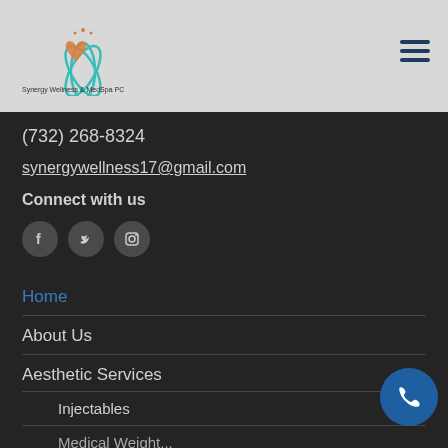[Figure (logo): Synergy Wellness & MedSpa PC lotus/heart logo with teal and orange colors]
(732) 268-8324
synergywellness17@gmail.com
Connect with us
[Figure (illustration): Social media icons: Facebook, Twitter, Instagram]
Home
About Us
Aesthetic Services
Injectables
Medical Weight...